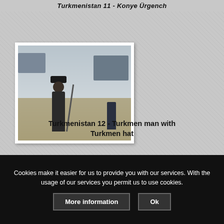Turkmenistan 11 - Konye Ürgench
[Figure (photo): A Turkmen man in traditional dark clothing and Turkmen hat, standing with a walking stick in an outdoor market or rural area with vehicles in the background.]
Turkmenistan 12 - Turkmen man with Turkmen hat
Cookies make it easier for us to provide you with our services. With the usage of our services you permit us to use cookies.